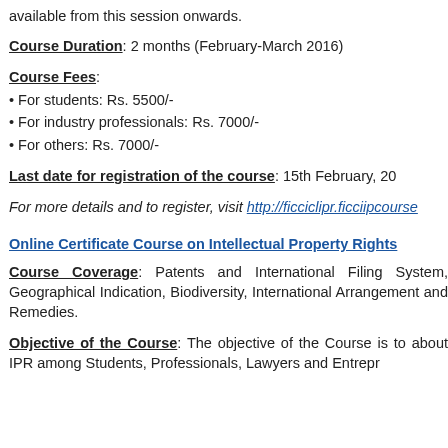available from this session onwards.
Course Duration: 2 months (February-March 2016)
Course Fees:
• For students: Rs. 5500/-
• For industry professionals: Rs. 7000/-
• For others: Rs. 7000/-
Last date for registration of the course: 15th February, 20
For more details and to register, visit http://ficciclipr.ficciipcourse
Online Certificate Course on Intellectual Property Rights
Course Coverage: Patents and International Filing System, Geographical Indication, Biodiversity, International Arrangements and Remedies.
Objective of the Course: The objective of the Course is to about IPR among Students, Professionals, Lawyers and Entrepr